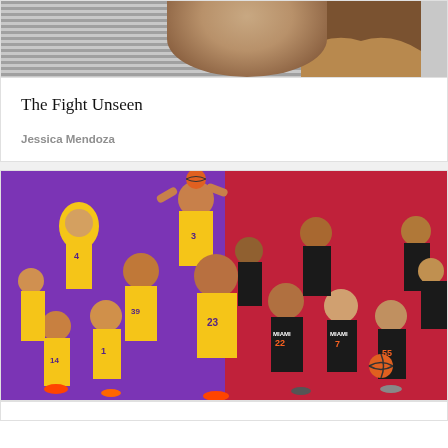[Figure (photo): Partial photo of a person wearing a striped grey shirt with long brown hair visible]
The Fight Unseen
Jessica Mendoza
[Figure (photo): NBA Finals collage image showing LA Lakers players in yellow jerseys on purple background (left half) and Miami Heat players in black jerseys on red background (right half)]
[Figure (photo): Partial bottom card, white background, partially visible]